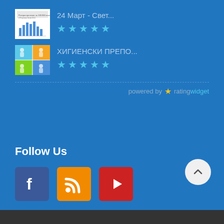[Figure (screenshot): Thumbnail image of a bar chart document about tuberculosis statistics]
24 Март - Свет...
[Figure (infographic): Thumbnail image of hygiene recommendations infographic with cartoon children]
ХИГИЕНСКИ ПРЕПО...
powered by ★ ratingwidget
Follow Us
[Figure (logo): Facebook social media icon - dark blue square with white F logo]
[Figure (logo): RSS feed icon - orange square with white RSS symbol]
[Figure (logo): YouTube icon - red square with white play button]